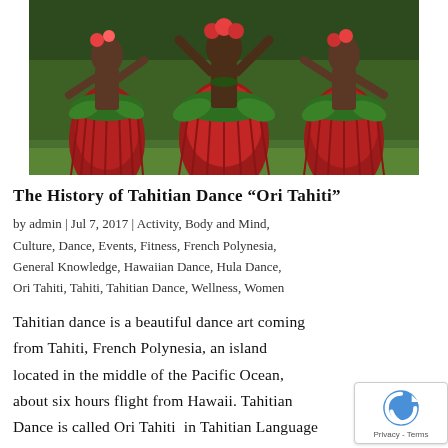[Figure (photo): Tahitian women dancers wearing red grass skirts and green leaf accessories, dancing outdoors on grass]
The History of Tahitian Dance “Ori Tahiti”
by admin | Jul 7, 2017 | Activity, Body and Mind, Culture, Dance, Events, Fitness, French Polynesia, General Knowledge, Hawaiian Dance, Hula Dance, Ori Tahiti, Tahiti, Tahitian Dance, Wellness, Women
Tahitian dance is a beautiful dance art coming from Tahiti, French Polynesia, an island located in the middle of the Pacific Ocean, about six hours flight from Hawaii. Tahitian Dance is called Ori Tahiti  in Tahitian Language